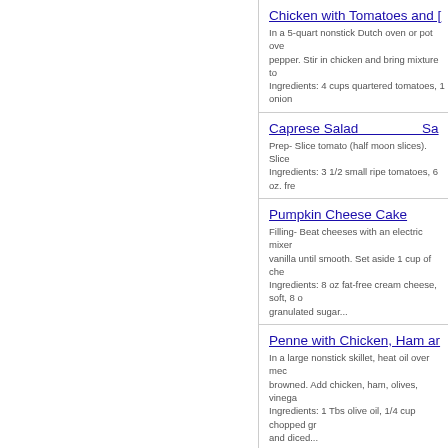Chicken with Tomatoes and [...]
Caprese Salad
Pumpkin Cheese Cake
Penne with Chicken, Ham ar...
Elegant Black Raspberry Sh...
Grilled Vegtabal Salad